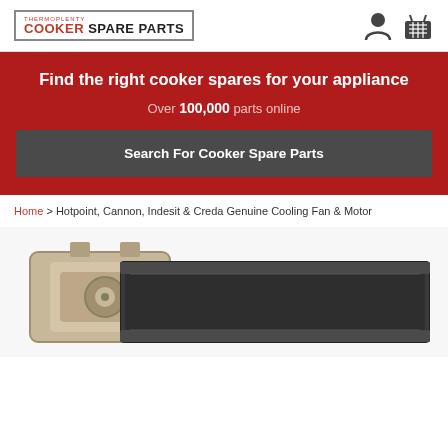THERMOPLENTY COOKER SPARE PARTS
Find the right cooker spares for your appliance
Over 100,000 parts online
Search For Cooker Spare Parts
Home > Hotpoint, Cannon, Indesit & Creda Genuine Cooling Fan & Motor
[Figure (photo): Product photos showing a cooling fan component (beige/tan colored part) and a dark metal tray/panel, partially visible at the bottom of the page.]